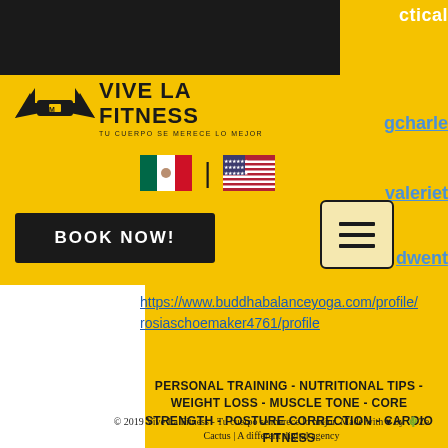ctical
[Figure (logo): Vive La Fitness logo with stylized wings/barbell icon and text 'VIVE LA FITNESS - TU CUERPO SE MERECE LO MEJOR']
gcharle
valeriet
dwent
[Figure (illustration): Mexican flag and US flag side by side separated by a vertical bar]
BOOK NOW!
[Figure (illustration): Hamburger menu icon with three horizontal lines inside a rounded rectangle button]
https://www.buddhabalanceyoga.com/profile/rosiaschoemaker4761/profile
PERSONAL TRAINING - NUTRITIONAL TIPS - WEIGHT LOSS - MUSCLE TONE - CORE STRENGTH - POSTURE CORRECTION - CARDIO FITNESS
© 2019 Vive La Fitness - Tu cuerpo se merece lo mejor. Made with ♥ by 🌵Ze Cactus | A different digital agency